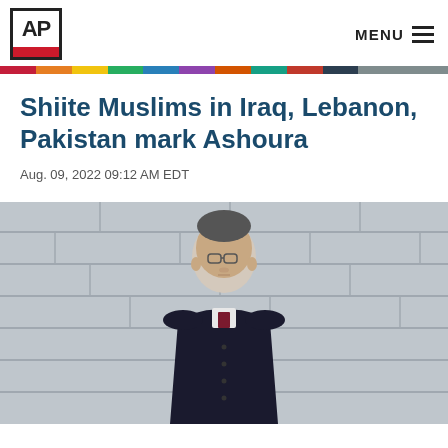AP | MENU
Shiite Muslims in Iraq, Lebanon, Pakistan mark Ashoura
Aug. 09, 2022 09:12 AM EDT
[Figure (photo): A man in clerical/religious attire wearing glasses and a dark coat stands in front of a concrete wall.]